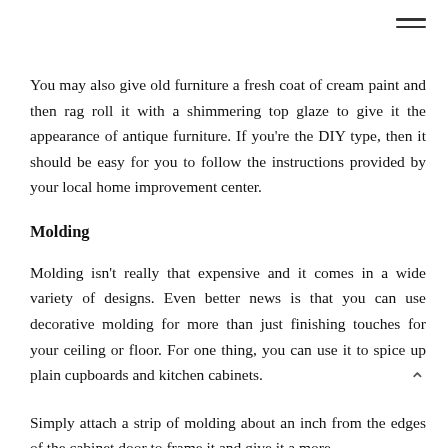≡
You may also give old furniture a fresh coat of cream paint and then rag roll it with a shimmering top glaze to give it the appearance of antique furniture. If you're the DIY type, then it should be easy for you to follow the instructions provided by your local home improvement center.
Molding
Molding isn't really that expensive and it comes in a wide variety of designs. Even better news is that you can use decorative molding for more than just finishing touches for your ceiling or floor. For one thing, you can use it to spice up plain cupboards and kitchen cabinets.
Simply attach a strip of molding about an inch from the edges of the cabinet door to frame it and give it a more